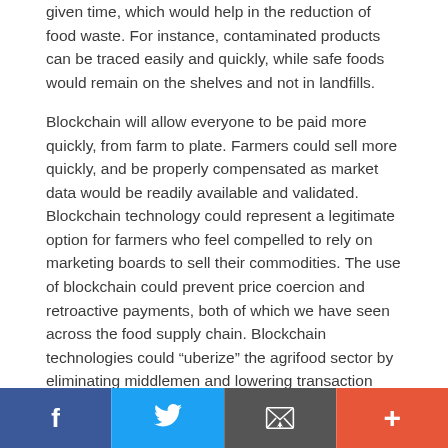given time, which would help in the reduction of food waste. For instance, contaminated products can be traced easily and quickly, while safe foods would remain on the shelves and not in landfills.
Blockchain will allow everyone to be paid more quickly, from farm to plate. Farmers could sell more quickly, and be properly compensated as market data would be readily available and validated. Blockchain technology could represent a legitimate option for farmers who feel compelled to rely on marketing boards to sell their commodities. The use of blockchain could prevent price coercion and retroactive payments, both of which we have seen across the food supply chain. Blockchain technologies could “uberize” the agrifood sector by eliminating middlemen and lowering transaction fees. This can lead to fairer pricing and even help smaller outfits desperate to get more market attention.
However, it will work only if the data at the source is
Facebook | Twitter | Email | +